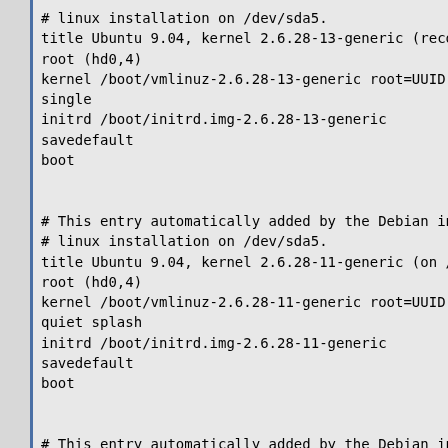# linux installation on /dev/sda5.
title Ubuntu 9.04, kernel 2.6.28-13-generic (recov
root (hd0,4)
kernel /boot/vmlinuz-2.6.28-13-generic root=UUID
single
initrd /boot/initrd.img-2.6.28-13-generic
savedefault
boot


# This entry automatically added by the Debian in
# linux installation on /dev/sda5.
title Ubuntu 9.04, kernel 2.6.28-11-generic (on /de
root (hd0,4)
kernel /boot/vmlinuz-2.6.28-11-generic root=UUID
quiet splash
initrd /boot/initrd.img-2.6.28-11-generic
savedefault
boot


# This entry automatically added by the Debian in
# linux installation on /dev/sda5.
title Ubuntu 9.04, kernel 2.6.28-11-generic (recov
root (hd0,4)
kernel /boot/vmlinuz-2.6.28-11-generic root=UUID
single
initrd /boot/initrd.img-2.6.28-11-generic
savedefault
boot